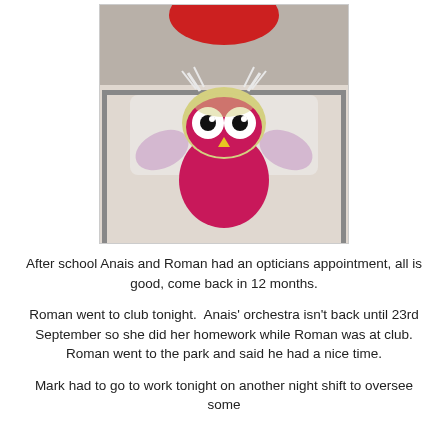[Figure (photo): A crocheted owl toy in pink/magenta and white with large eyes and yellow beak, sitting on a light-colored surface with some items in the background.]
After school Anais and Roman had an opticians appointment, all is good, come back in 12 months.
Roman went to club tonight.  Anais' orchestra isn't back until 23rd September so she did her homework while Roman was at club. Roman went to the park and said he had a nice time.
Mark had to go to work tonight on another night shift to oversee some